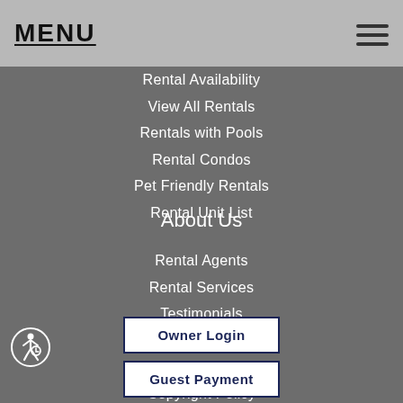MENU
Rental Availability
View All Rentals
Rentals with Pools
Rental Condos
Pet Friendly Rentals
Rental Unit List
About Us
Rental Agents
Rental Services
Testimonials
Disclaimer
Privacy Policy
Copyright Policy
Owner Login
Guest Payment